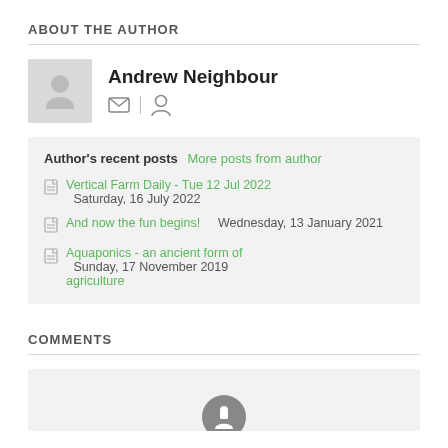ABOUT THE AUTHOR
Andrew Neighbour
Vertical Farm Daily - Tue 12 Jul 2022   Saturday, 16 July 2022
And now the fun begins!   Wednesday, 13 January 2021
Aquaponics - an ancient form of agriculture   Sunday, 17 November 2019
COMMENTS